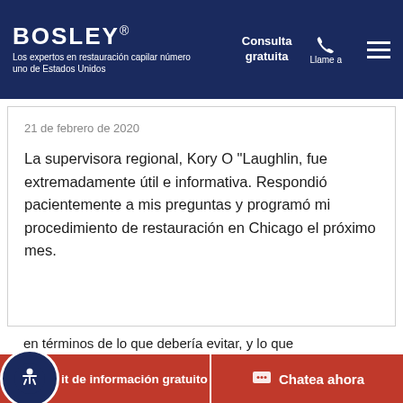BOSLEY® Los expertos en restauración capilar número uno de Estados Unidos | Consulta gratuita | Llame a
21 de febrero de 2020
La supervisora regional, Kory O "Laughlin, fue extremadamente útil e informativa. Respondió pacientemente a mis preguntas y programó mi procedimiento de restauración en Chicago el próximo mes.
[Figure (other): Four red star rating icons]
17 de junio de 2019
en términos de lo que debería evitar, y lo que